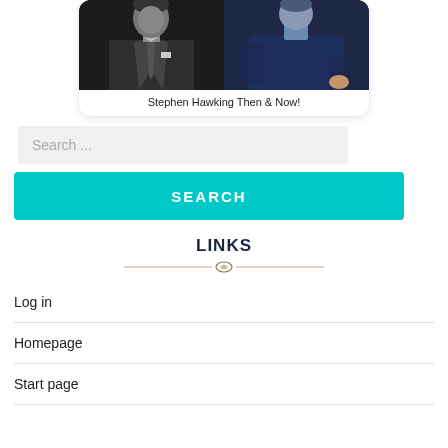[Figure (photo): Two photos side by side showing Stephen Hawking then and now — left photo is black and white showing a young man in a suit and tie, right photo shows an older man in a dark jacket.]
Stephen Hawking Then & Now!
Search ...
SEARCH
LINKS
Log in
Homepage
Start page